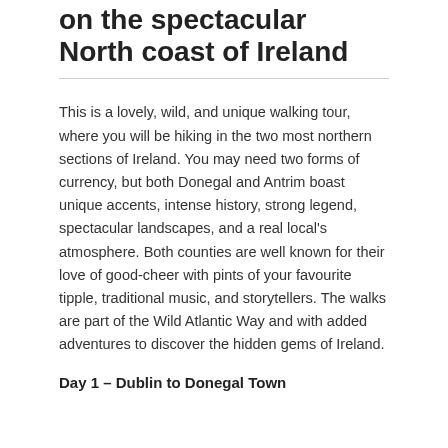on the spectacular North coast of Ireland
This is a lovely, wild, and unique walking tour, where you will be hiking in the two most northern sections of Ireland. You may need two forms of currency, but both Donegal and Antrim boast unique accents, intense history, strong legend, spectacular landscapes, and a real local's atmosphere. Both counties are well known for their love of good-cheer with pints of your favourite tipple, traditional music, and storytellers. The walks are part of the Wild Atlantic Way and with added adventures to discover the hidden gems of Ireland.
Day 1 – Dublin to Donegal Town